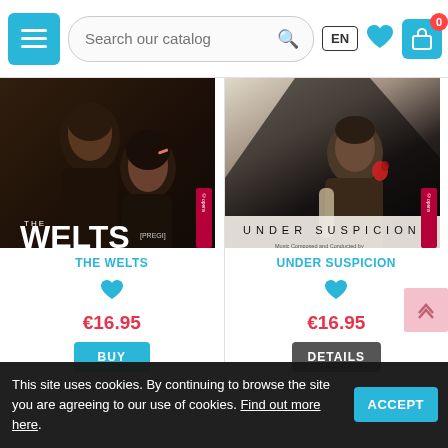Search our catalog | EN | Cart (0)
[Figure (photo): Album cover: THE WELTS (PREGI) - and other music by Adrian Konarski. Dark romantic photo of a man and woman.]
THE WELTS
€16.95
[Figure (photo): Album cover: UNDER SUSPICION - Music Composed and Conducted by Christopher Gunning. Dark thriller-style photo of a man.]
UNDER SUSPICION
€16.95
This site uses cookies. By continuing to browse the site you are agreeing to our use of cookies. Find out more here.